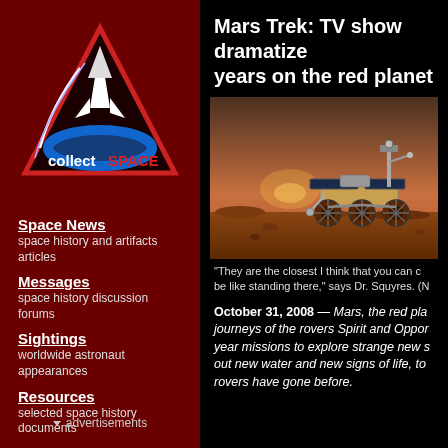[Figure (logo): collectSPACE logo: red triangular rocket badge with white text 'collect' and red 'SPACE']
Space News
space history and artifacts articles
Messages
space history discussion forums
Sightings
worldwide astronaut appearances
Resources
selected space history documents
▾ advertisements
Mars Trek: TV show dramatize years on the red planet
[Figure (photo): Mars rover (Spirit or Opportunity) on the surface of Mars, reddish-brown terrain, hazy sky with glowing light on horizon]
"They are the closest I think that you can c be like standing there," says Dr. Squyres. (N
October 31, 2008 — Mars, the red pla journeys of the rovers Spirit and Oppor year missions to explore strange new s out new water and new signs of life, to rovers have gone before.